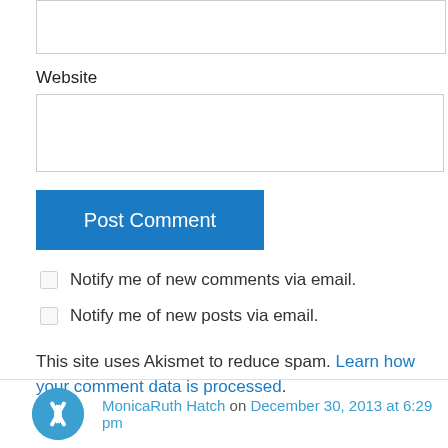[Figure (screenshot): Text input box at top of page (partially visible)]
Website
[Figure (screenshot): Website text input box]
Post Comment
Notify me of new comments via email.
Notify me of new posts via email.
This site uses Akismet to reduce spam. Learn how your comment data is processed.
MonicaRuth Hatch on December 30, 2013 at 6:29 pm